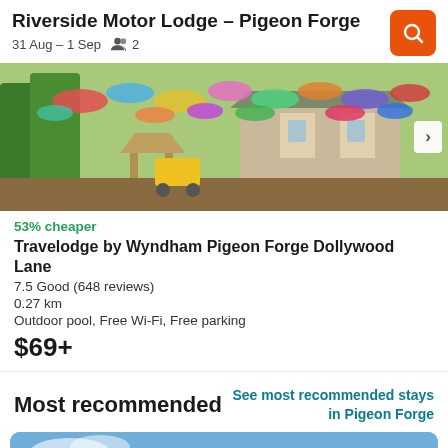Riverside Motor Lodge – Pigeon Forge
31 Aug – 1 Sep   👥 2
[Figure (photo): Outdoor scene with colorful umbrellas hanging overhead near a Victorian-style building surrounded by trees]
53% cheaper
Travelodge by Wyndham Pigeon Forge Dollywood Lane
7.5 Good (648 reviews)
0.27 km
Outdoor pool, Free Wi-Fi, Free parking
$69+
Most recommended
See most recommended stays in Pigeon Forge
[Figure (photo): 2-star hotel building against blue sky, partially visible]